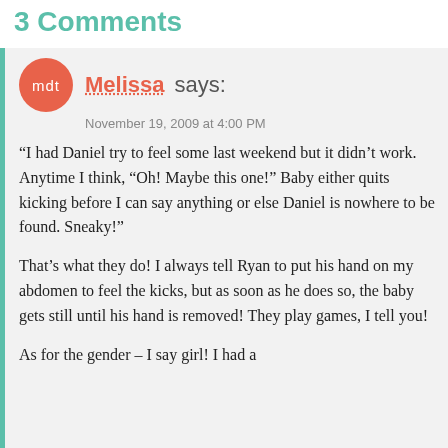3 Comments
Melissa says:
November 19, 2009 at 4:00 PM
“I had Daniel try to feel some last weekend but it didn’t work. Anytime I think, “Oh! Maybe this one!” Baby either quits kicking before I can say anything or else Daniel is nowhere to be found. Sneaky!”
That’s what they do! I always tell Ryan to put his hand on my abdomen to feel the kicks, but as soon as he does so, the baby gets still until his hand is removed! They play games, I tell you!
As for the gender – I say girl! I had a